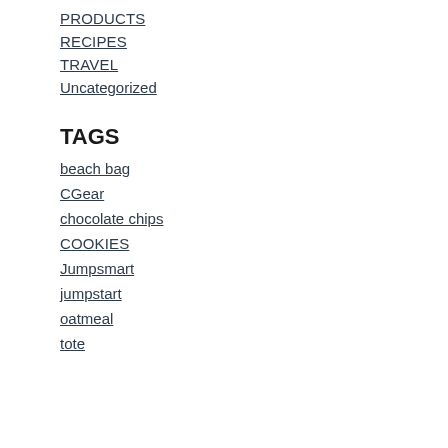PRODUCTS
RECIPES
TRAVEL
Uncategorized
TAGS
beach bag
CGear
chocolate chips
COOKIES
Jumpsmart
jumpstart
oatmeal
tote